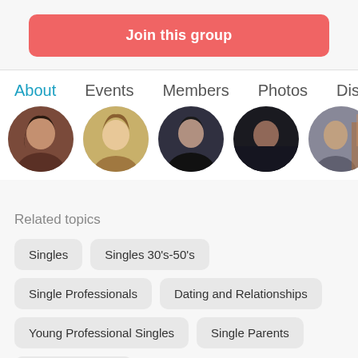Join this group
About  Events  Members  Photos  Disc
[Figure (photo): Five circular avatar photos of group members in a row]
Related topics
Singles
Singles 30's-50's
Single Professionals
Dating and Relationships
Young Professional Singles
Single Parents
Singles 40's-50's